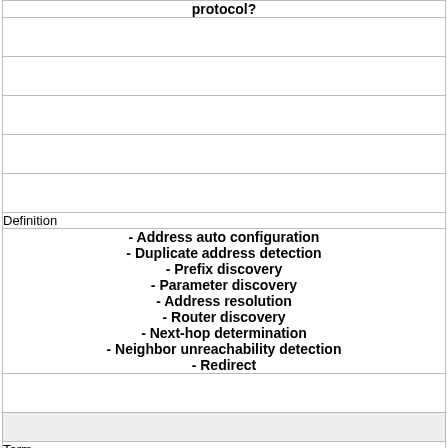| protocol? |
|  |
|  |
|  |
|  |
|  |
| Definition |
| - Address auto configuration
- Duplicate address detection
- Prefix discovery
- Parameter discovery
- Address resolution
- Router discovery
- Next-hop determination
- Neighbor unreachability detection
- Redirect |
|  |
|  |
| Term |
| What is the format for an IPv6 global unique address? |